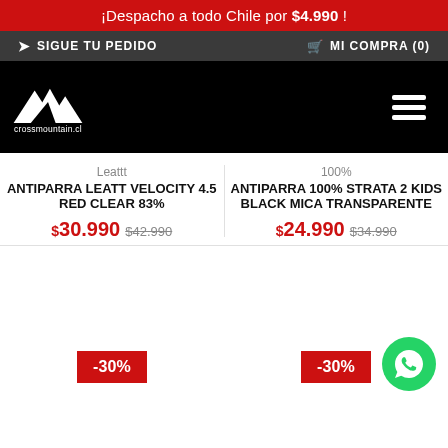¡Despacho a todo Chile por $4.990 !
SIGUE TU PEDIDO   MI COMPRA (0)
[Figure (logo): Crossmountain.cl logo with mountain peaks icon and text crossmountain.cl]
Leattt
ANTIPARRA LEATT VELOCITY 4.5 RED CLEAR 83%
$30.990 $42.990
100%
ANTIPARRA 100% STRATA 2 KIDS BLACK MICA TRANSPARENTE
$24.990 $34.990
-30%
-30%
[Figure (logo): WhatsApp green circular button icon]